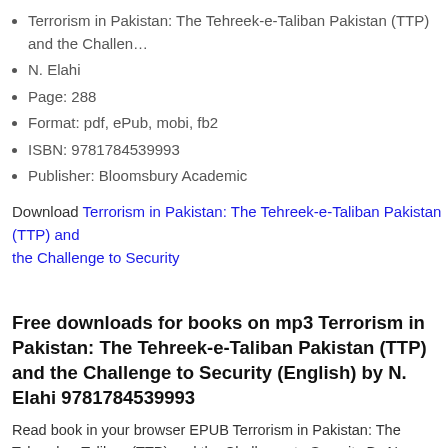Terrorism in Pakistan: The Tehreek-e-Taliban Pakistan (TTP) and the Challen…
N. Elahi
Page: 288
Format: pdf, ePub, mobi, fb2
ISBN: 9781784539993
Publisher: Bloomsbury Academic
Download Terrorism in Pakistan: The Tehreek-e-Taliban Pakistan (TTP) and the Challenge to Security
Free downloads for books on mp3 Terrorism in Pakistan: The Tehreek-e-Taliban Pakistan (TTP) and the Challenge to Security (English) by N. Elahi 9781784539993
Read book in your browser EPUB Terrorism in Pakistan: The Tehreek-e-Taliban (TTP) and the Challenge to Security By N. Elahi PDF Download. Kindle, iPhone, DOC, iPad FB2, PDF, Mobi, TXT. Terrorism in Pakistan: The Tehreek-e-Taliban P… and the Challenge to Security EPUB PDF Download Read N. Elahi Kindle, PC, … or tablets. Bestseller author of EPUB Terrorism in Pakistan: The Tehreek-e-Talib… (TTP) and the Challenge to Security By N. Elahi PDF Download new ebook or a… available for download. Rate this book Terrorism in Pakistan: The Tehreek-e-Tali… (TTP) and the Challenge to Security EPUB PDF Download Read N. Elahi ove…